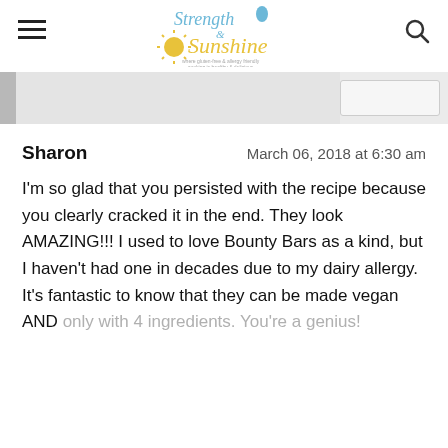Strength & Sunshine — where gluten-free & allergy friendly cooking is healthy & delicious
[Figure (screenshot): Partial image strip showing a cropped page image with gray bar on left and white button on right]
Sharon    March 06, 2018 at 6:30 am

I'm so glad that you persisted with the recipe because you clearly cracked it in the end. They look AMAZING!!! I used to love Bounty Bars as a kind, but I haven't had one in decades due to my dairy allergy. It's fantastic to know that they can be made vegan AND only with 4 ingredients. You're a genius!